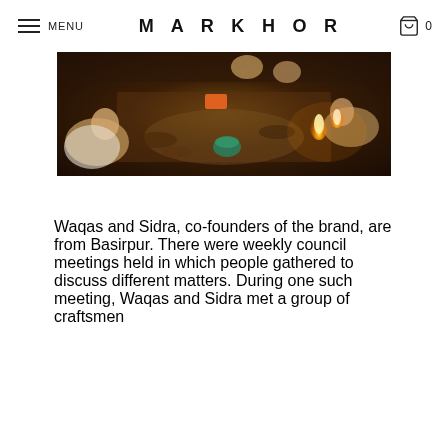MENU  MARKHOR  0
[Figure (photo): Overhead view of craftsmen working on shoes in a workshop, with candles/lamps lit, leather pieces and tools scattered around on the floor]
Waqas and Sidra, co-founders of the brand, are from Basirpur. There were weekly council meetings held in which people gathered to discuss different matters. During one such meeting, Waqas and Sidra met a group of craftsmen